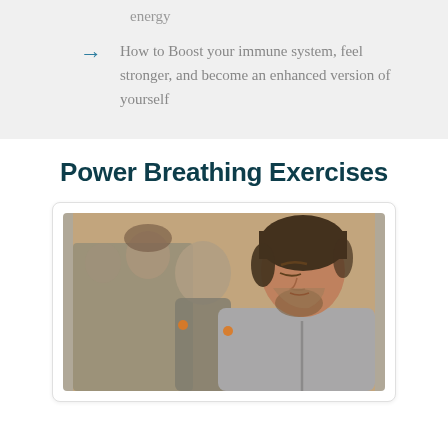energy
How to Boost your immune system, feel stronger, and become an enhanced version of yourself
Power Breathing Exercises
[Figure (photo): Three people in grey hoodies sitting and practicing breathing exercises, with the closest person in focus showing a bearded man with eyes closed or looking down]